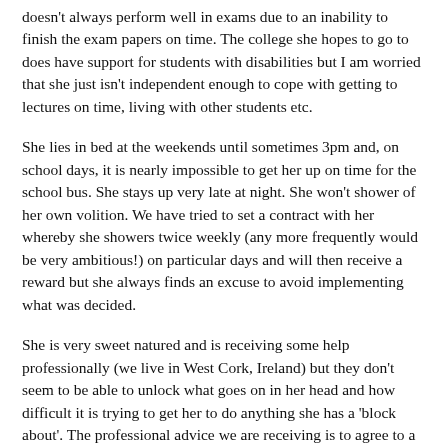doesn't always perform well in exams due to an inability to finish the exam papers on time. The college she hopes to go to does have support for students with disabilities but I am worried that she just isn't independent enough to cope with getting to lectures on time, living with other students etc.
She lies in bed at the weekends until sometimes 3pm and, on school days, it is nearly impossible to get her up on time for the school bus. She stays up very late at night. She won't shower of her own volition. We have tried to set a contract with her whereby she showers twice weekly (any more frequently would be very ambitious!) on particular days and will then receive a reward but she always finds an excuse to avoid implementing what was decided.
She is very sweet natured and is receiving some help professionally (we live in West Cork, Ireland) but they don't seem to be able to unlock what goes on in her head and how difficult it is trying to get her to do anything she has a 'block about'. The professional advice we are receiving is to agree to a schedule etc and then reward her for implementing it but as she doesn't really value anything this reward strategy doesn't really work.